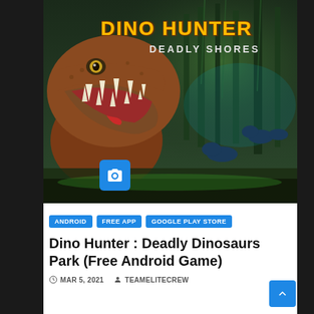[Figure (screenshot): Dino Hunter: Deadly Shores game banner showing a T-Rex with open jaws, smaller dinosaurs in jungle background, orange/yellow stylized logo text 'Dino Hunter' and 'Deadly Shores' subtitle]
ANDROID   FREE APP   GOOGLE PLAY STORE
Dino Hunter : Deadly Dinosaurs Park (Free Android Game)
MAR 5, 2021   TEAMELITECREW